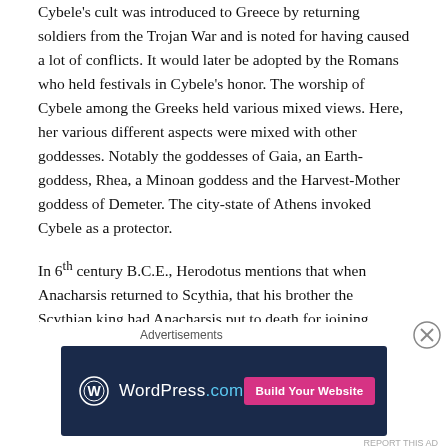Cybele's cult was introduced to Greece by returning soldiers from the Trojan War and is noted for having caused a lot of conflicts. It would later be adopted by the Romans who held festivals in Cybele's honor. The worship of Cybele among the Greeks held various mixed views. Here, her various different aspects were mixed with other goddesses. Notably the goddesses of Gaia, an Earth-goddess, Rhea, a Minoan goddess and the Harvest-Mother goddess of Demeter. The city-state of Athens invoked Cybele as a protector.
In 6th century B.C.E., Herodotus mentions that when Anacharsis returned to Scythia, that his brother the Scythian king had Anacharsis put to death for joining
[Figure (other): WordPress.com advertisement banner with 'Advertisements' label above, dark navy background, WordPress logo, WordPress.com text, and a pink 'Build Your Website' button. A close/dismiss (X) button appears to the right.]